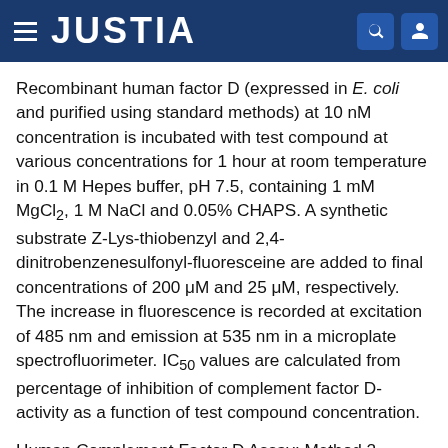JUSTIA
Recombinant human factor D (expressed in E. coli and purified using standard methods) at 10 nM concentration is incubated with test compound at various concentrations for 1 hour at room temperature in 0.1 M Hepes buffer, pH 7.5, containing 1 mM MgCl2, 1 M NaCl and 0.05% CHAPS. A synthetic substrate Z-Lys-thiobenzyl and 2,4-dinitrobenzenesulfonyl-fluoresceine are added to final concentrations of 200 μM and 25 μM, respectively. The increase in fluorescence is recorded at excitation of 485 nm and emission at 535 nm in a microplate spectrofluorimeter. IC50 values are calculated from percentage of inhibition of complement factor D-activity as a function of test compound concentration.
Human Complement Factor D Assay: Method 2
Recombinant human factor D (expressed in E. coli and